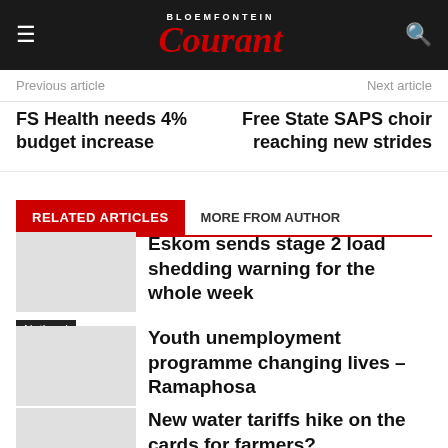Bloemfontein Courant
Previous article
Next article
FS Health needs 4% budget increase
Free State SAPS choir reaching new strides
RELATED ARTICLES   MORE FROM AUTHOR
Eskom sends stage 2 load shedding warning for the whole week
National
Youth unemployment programme changing lives – Ramaphosa
National
New water tariffs hike on the cards for farmers?